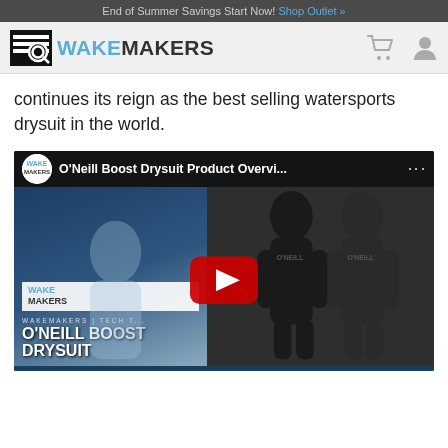End of Summer Savings Start Now! Shop Outlet »
[Figure (logo): WakeMakers logo with search icon and stylized text, plus cart and user icons on the right]
continues its reign as the best selling watersports drysuit in the world.
[Figure (screenshot): YouTube video thumbnail for O'Neill Boost Drysuit Product Overvi... showing two people in black drysuits with WakeMakers branding and a red play button]